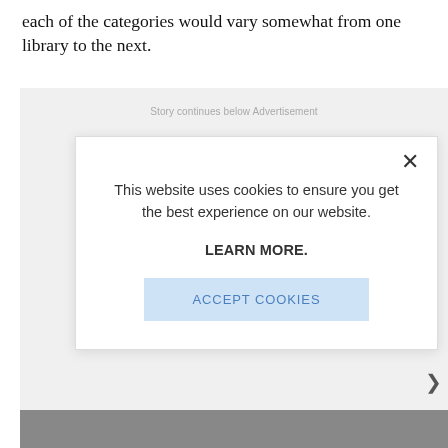each of the categories would vary somewhat from one library to the next.
[Figure (screenshot): Cookie consent modal overlay on a webpage. Contains text 'This website uses cookies to ensure you get the best experience on our website.' followed by a bold 'LEARN MORE.' link and an 'ACCEPT COOKIES' button in light blue. A close (X) button is in the top right corner. Background shows 'Story continues below Advertisement' text in grey.]